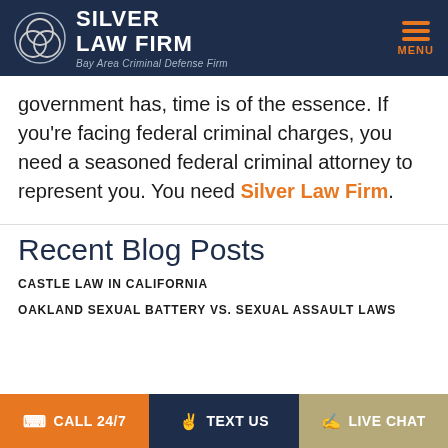[Figure (logo): Silver Law Firm logo with interlocking circles icon, firm name in white bold text, tagline 'Bay Area Criminal Defense Firm' in italic gray, and orange hamburger menu with MENU label]
government has, time is of the essence. If you're facing federal criminal charges, you need a seasoned federal criminal attorney to represent you. You need Silver Law Firm.
Recent Blog Posts
CASTLE LAW IN CALIFORNIA
OAKLAND SEXUAL BATTERY VS. SEXUAL ASSAULT LAWS
CALL 24/7 | TEXT US | LIVE CHAT